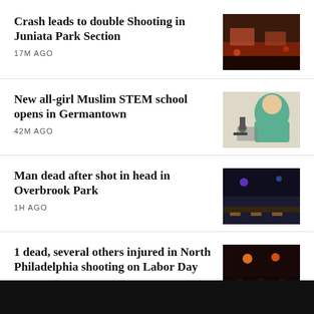Crash leads to double Shooting in Juniata Park Section
17M AGO
[Figure (photo): Night scene with cars on a street, red-lit background]
New all-girl Muslim STEM school opens in Germantown
42M AGO
[Figure (photo): Mural or illustration of a girl in hijab looking through a microscope]
Man dead after shot in head in Overbrook Park
1H AGO
[Figure (photo): Dark night scene, police tape or street scene]
1 dead, several others injured in North Philadelphia shooting on Labor Day
[Figure (photo): Night street scene with traffic lights glowing orange/red]